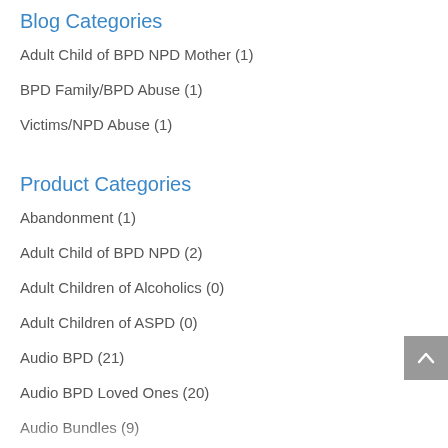Blog Categories
Adult Child of BPD NPD Mother (1)
BPD Family/BPD Abuse (1)
Victims/NPD Abuse (1)
Product Categories
Abandonment (1)
Adult Child of BPD NPD (2)
Adult Children of Alcoholics (0)
Adult Children of ASPD (0)
Audio BPD (21)
Audio BPD Loved Ones (20)
Audio Bundles (9)
Audio General (6)
Audio NPD (0)
Audio NPD Loved Ones (0)